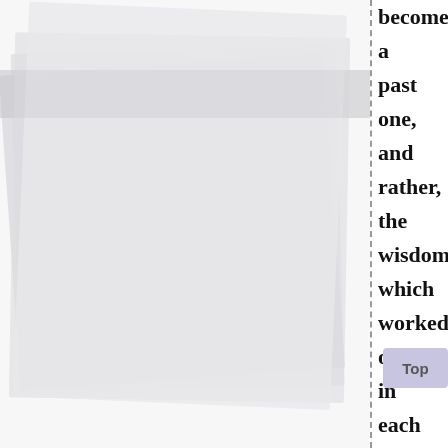[Figure (illustration): Stack of translucent layered pages arranged at slight angles, light grey tones, suggesting a book or document stack. A dashed vertical line separates the image from the text column on the right.]
become a past one, and rather, the wisdom which worked out in each country begins